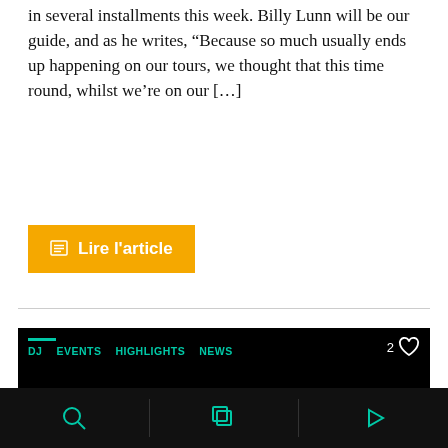in several installments this week. Billy Lunn will be our guide, and as he writes, “Because so much usually ends up happening on our tours, we thought that this time round, whilst we’re on our […]
⊞ Lire l'article
[Figure (screenshot): Dark card UI with navigation tabs (DJ, EVENTS, HIGHLIGHTS, NEWS) in teal/cyan on black background, heart icon with number 2, and centered white bold text reading 'Handel: A Musical Life of Devotion']
Search | Browse | Play icons in bottom navigation bar